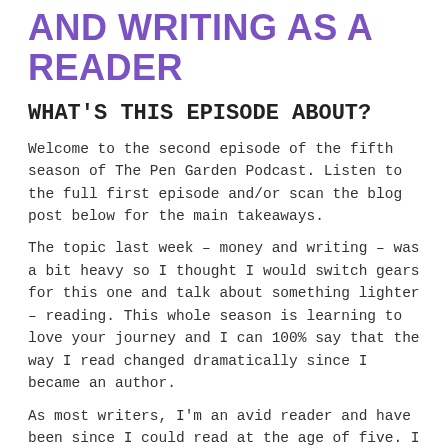AND WRITING AS A READER
WHAT'S THIS EPISODE ABOUT?
Welcome to the second episode of the fifth season of The Pen Garden Podcast. Listen to the full first episode and/or scan the blog post below for the main takeaways.
The topic last week – money and writing – was a bit heavy so I thought I would switch gears for this one and talk about something lighter – reading. This whole season is learning to love your journey and I can 100% say that the way I read changed dramatically since I became an author.
As most writers, I'm an avid reader and have been since I could read at the age of five. I still remember the first children's book I could read aloud without